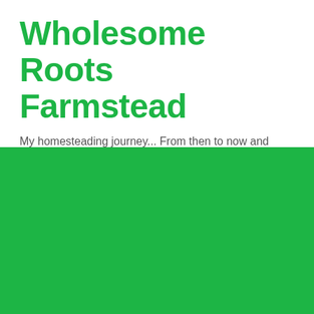Wholesome Roots Farmstead
My homesteading journey... From then to now and everything in between!
[Figure (illustration): Solid green (#1db545) background block filling the bottom half of the page]